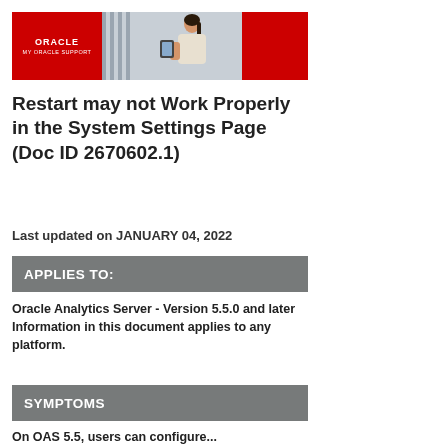[Figure (logo): Oracle My Oracle Support banner with red logo area on left, photo of person in center, red panel on right]
Restart may not Work Properly in the System Settings Page (Doc ID 2670602.1)
Last updated on JANUARY 04, 2022
APPLIES TO:
Oracle Analytics Server - Version 5.5.0 and later
Information in this document applies to any platform.
SYMPTOMS
On OAS 5.5, users can configure...